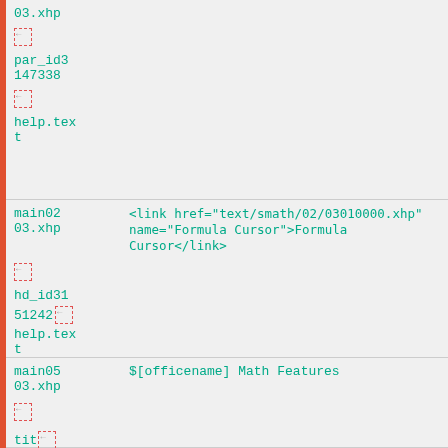03.xhp
[icon] par_id3 147338
[icon]
help.text
main0203.xhp  <link href="text/smath/02/03010000.xhp" name="Formula Cursor">Formula Cursor</link>
[icon]
hd_id3151242[icon]
help.text
main0503.xhp  $[officename] Math Features
[icon]
tit[icon]